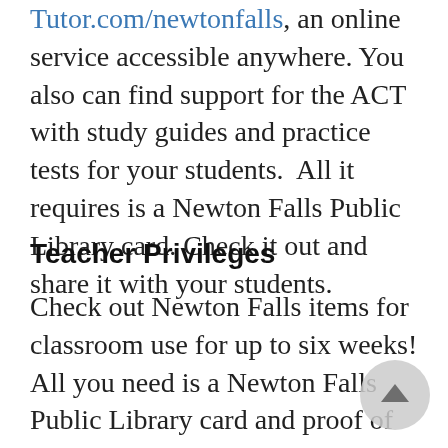Tutor.com/newtonfalls, an online service accessible anywhere. You also can find support for the ACT with study guides and practice tests for your students.  All it requires is a Newton Falls Public Library card. Check it out and share it with your students.
Teacher Privileges
Check out Newton Falls items for classroom use for up to six weeks! All you need is a Newton Falls Public Library card and proof of employment at a school, and we can add teacher privileges to your card.